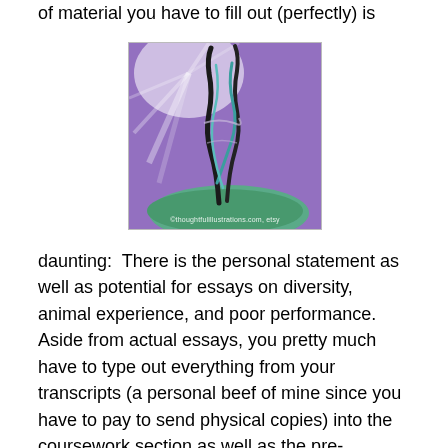of material you have to fill out (perfectly) is
[Figure (illustration): An abstract painting of a twisted tree or DNA-like spiral structure rising from green ground against a purple background with white light rays. Watermark text visible at bottom.]
daunting:  There is the personal statement as well as potential for essays on diversity, animal experience, and poor performance.  Aside from actual essays, you pretty much have to type out everything from your transcripts (a personal beef of mine since you have to pay to send physical copies) into the coursework section as well as the pre-requisite section.  Then, there is space to include work history, volunteerism, sports, clubs, activities, animal experience, any leadership positions, and awards.